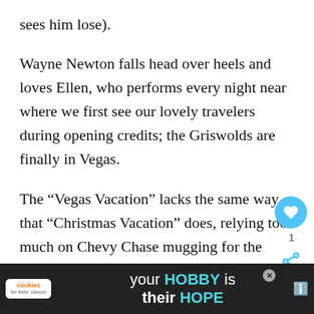sees him lose).
Wayne Newton falls head over heels and loves Ellen, who performs every night near where we first see our lovely travelers during opening credits; the Griswolds are finally in Vegas.
The “Vegas Vacation” lacks the same way that “Christmas Vacation” does, relying too much on Chevy Chase mugging for the camera, but there are some funny bits, including some priceless scenes of Clark and Ru...